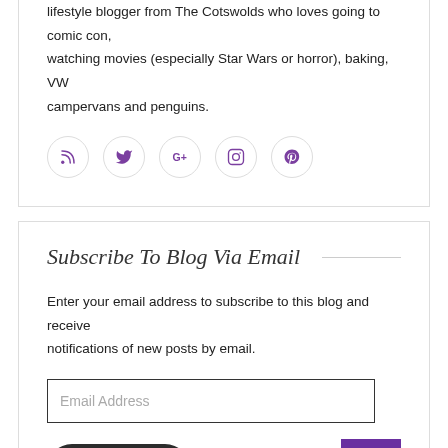lifestyle blogger from The Cotswolds who loves going to comic con, watching movies (especially Star Wars or horror), baking, VW campervans and penguins.
[Figure (other): Five social media icons in circles: RSS feed, Twitter, Google+, Instagram, Pinterest]
Subscribe To Blog Via Email
Enter your email address to subscribe to this blog and receive notifications of new posts by email.
Email Address (input field)
Subscribe (button)